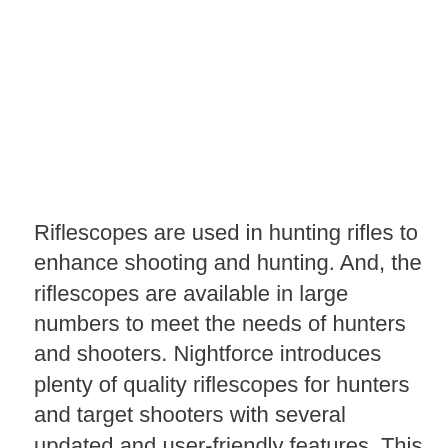Riflescopes are used in hunting rifles to enhance shooting and hunting. And, the riflescopes are available in large numbers to meet the needs of hunters and shooters. Nightforce introduces plenty of quality riflescopes for hunters and target shooters with several updated and user-friendly features. This review will clearly explain the features of the NightForce SHV ... Read more